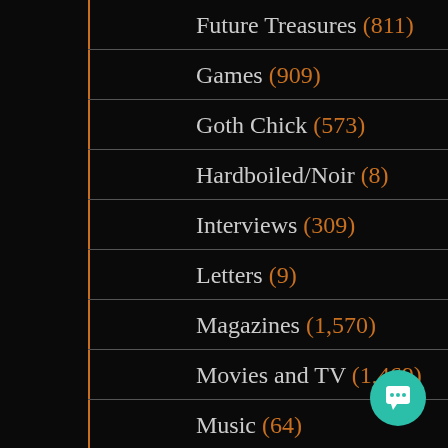Future Treasures (811)
Games (909)
Goth Chick (573)
Hardboiled/Noir (8)
Interviews (309)
Letters (9)
Magazines (1,570)
Movies and TV (1,469)
Music (64)
Mystery (41)
New Treasures (1,901)